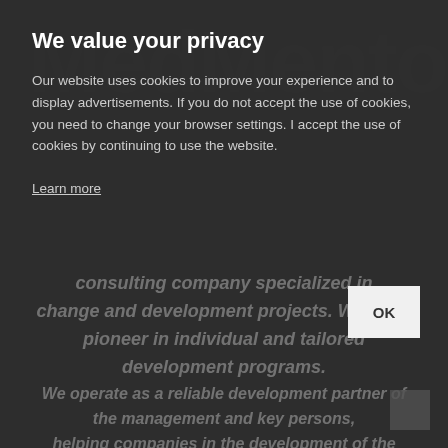[Figure (logo): MedMentor watermark logo text in large faded letters in the background]
We value your privacy
Our website uses cookies to improve your experience and to display advertisements. If you do not accept the use of cookies, you need to change your browser settings. I accept the use of cookies by continuing to use the website.
Learn more
consulting company specialized in change and development projects. We are a pioneer in individual and tailored development programs.
OK
We operate as a reliable development partner of the management and key persons, helping companies in the development of the